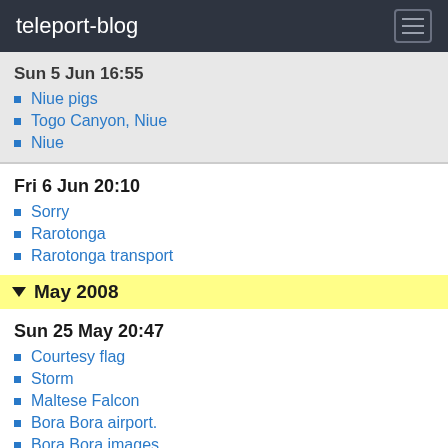teleport-blog
Sun 5 Jun 16:55
Niue pigs
Togo Canyon, Niue
Niue
Fri 6 Jun 20:10
Sorry
Rarotonga
Rarotonga transport
May 2008
Sun 25 May 20:47
Courtesy flag
Storm
Maltese Falcon
Bora Bora airport.
Bora Bora images
Bora Bora boat trip
Wed 21 May 05:44
On our way again